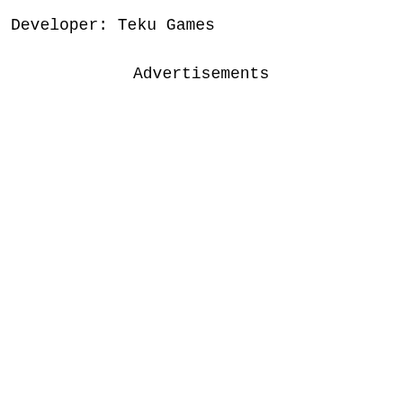Developer: Teku Games
Advertisements